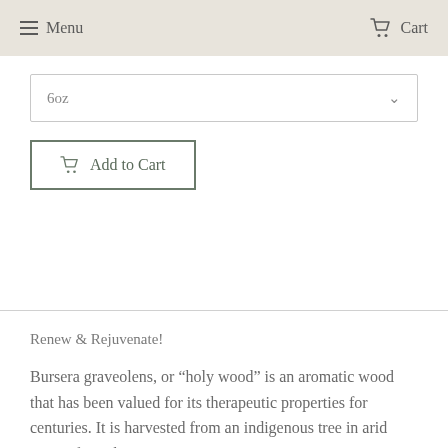Menu  Cart
6oz
Add to Cart
Renew & Rejuvenate!
Bursera graveolens, or “holy wood” is an aromatic wood that has been valued for its therapeutic properties for centuries. It is harvested from an indigenous tree in arid areas of South America.